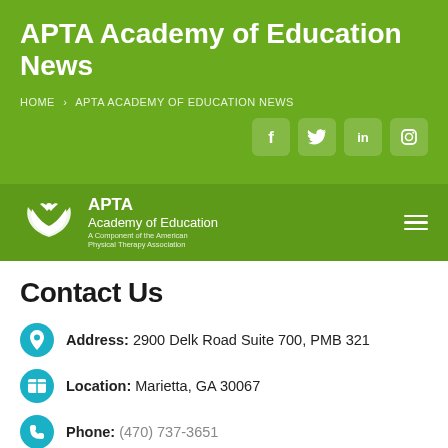APTA Academy of Education News
HOME > APTA ACADEMY OF EDUCATION NEWS
[Figure (screenshot): Social media icons: Facebook, Twitter, LinkedIn, Instagram]
[Figure (logo): APTA Academy of Education logo with leaf/wing symbol. Text: APTA Academy of Education, A Component of the American Physical Therapy Association]
Contact Us
Address: 2900 Delk Road Suite 700, PMB 321
Location: Marietta, GA 30067
Phone: (470) 737-3651